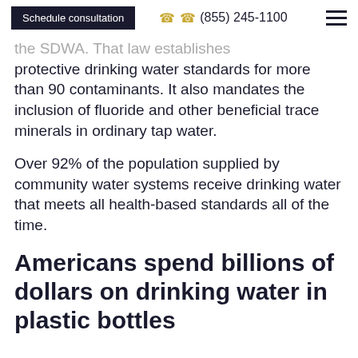Schedule consultation | (855) 245-1100
the SDWA. That law establishes protective drinking water standards for more than 90 contaminants. It also mandates the inclusion of fluoride and other beneficial trace minerals in ordinary tap water.
Over 92% of the population supplied by community water systems receive drinking water that meets all health-based standards all of the time.
Americans spend billions of dollars on drinking water in plastic bottles